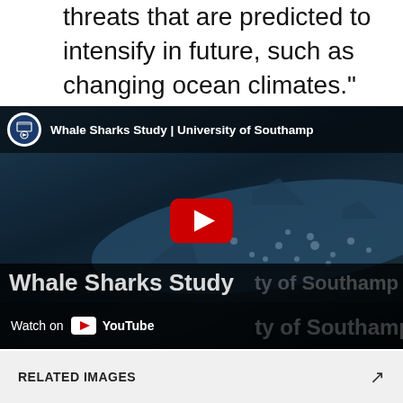threats that are predicted to intensify in future, such as changing ocean climates."
[Figure (screenshot): YouTube video thumbnail for 'Whale Sharks Study | University of Southampton'. Shows a whale shark underwater with dark blue tones, a YouTube play button in the center, channel logo and title at top, 'Whale Sharks Study' text bar, and 'Watch on YouTube' at bottom.]
RELATED IMAGES